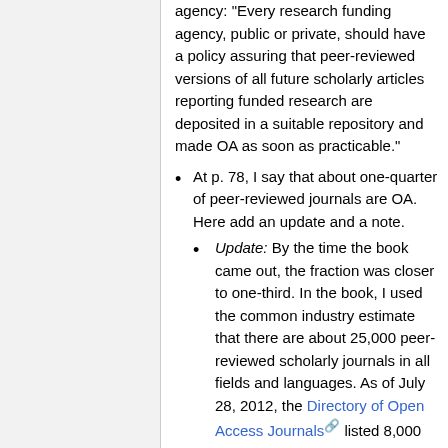agency: "Every research funding agency, public or private, should have a policy assuring that peer-reviewed versions of all future scholarly articles reporting funded research are deposited in a suitable repository and made OA as soon as practicable."
At p. 78, I say that about one-quarter of peer-reviewed journals are OA. Here add an update and a note.
Update: By the time the book came out, the fraction was closer to one-third. In the book, I used the common industry estimate that there are about 25,000 peer-reviewed scholarly journals in all fields and languages. As of July 28, 2012, the Directory of Open Access Journals listed 8,000